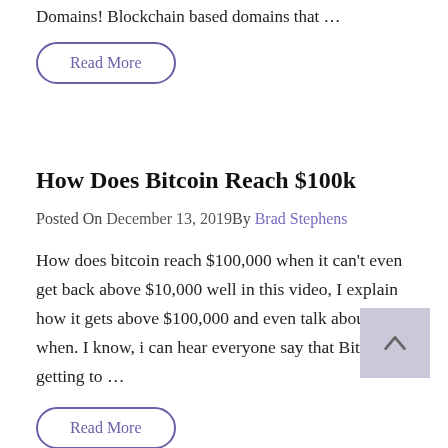Domains! Blockchain based domains that …
Read More
How Does Bitcoin Reach $100k
Posted On December 13, 2019By Brad Stephens
How does bitcoin reach $100,000 when it can't even get back above $10,000 well in this video, I explain how it gets above $100,000 and even talk about when. I know, i can hear everyone say that Bitcoin getting to …
Read More
Analyzing Bitcoin | Are We On Track For